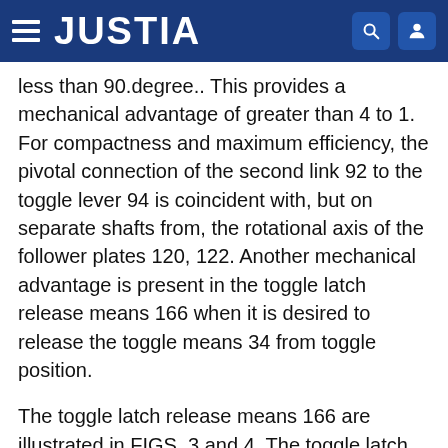JUSTIA
less than 90.degree.. This provides a mechanical advantage of greater than 4 to 1. For compactness and maximum efficiency, the pivotal connection of the second link 92 to the toggle lever 94 is coincident with, but on separate shafts from, the rotational axis of the follower plates 120, 122. Another mechanical advantage is present in the toggle latch release means 166 when it is desired to release the toggle means 34 from toggle position.
The toggle latch release means 166 are illustrated in FIGS. 3 and 4. The toggle latch release means 166 are comprised of the latch member release lever 168, the two D-latches 170 and 172, the catch 174, biasing springs 176 and 178 and the stop pin 180. To release the toggle means 34, the latch member release lever 168 is depressed. The depressing of this lever 168 causes a